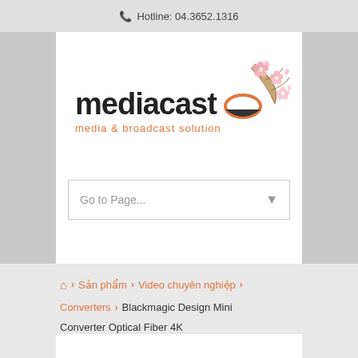Hotline: 04.3652.1316
[Figure (logo): Mediacast logo with text 'media & broadcast solution' and decorative cherry blossom flowers]
Go to Page...
Sản phẩm › Video chuyên nghiệp › Converters › Blackmagic Design Mini Converter Optical Fiber 4K